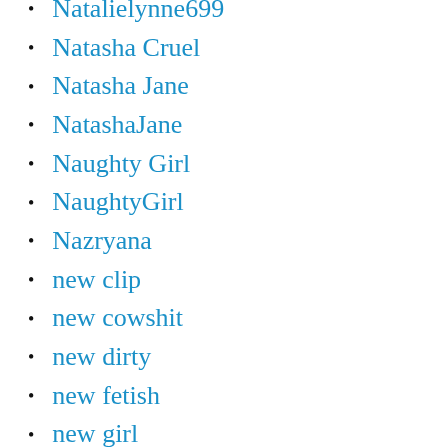Natalielynne699
Natasha Cruel
Natasha Jane
NatashaJane
Naughty Girl
NaughtyGirl
Nazryana
new clip
new cowshit
new dirty
new fetish
new girl
new gold
NEW MFX
new model
new models